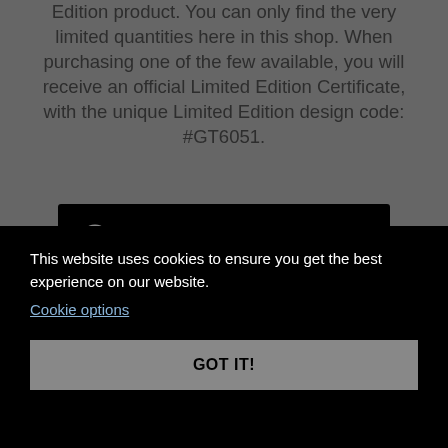Edition product. You can only find the very limited quantities here in this shop. When purchasing one of the few available, you will receive an official Limited Edition Certificate, with the unique Limited Edition design code: #GT6051.
[Figure (other): Black badge/box with a padlock icon and monospace text reading 'Limited Edition: Code #GT6051']
This website uses cookies to ensure you get the best experience on our website.
Cookie options
GOT IT!